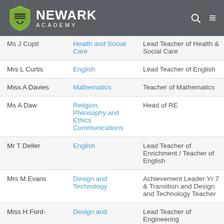Newark Academy
| Name | Subject | Role |
| --- | --- | --- |
| Ms J Cupit | Health and Social Care | Lead Teacher of Health & Social Care |
| Mrs L Curtis | English | Lead Teacher of English |
| Miss A Davies | Mathematics | Teacher of Mathematics |
| Ms A Daw | Religion, Philosophy and Ethics Communications | Head of RE |
| Mr T Deller | English | Lead Teacher of Enrichment / Teacher of English |
| Mrs M Evans | Design and Technology | Achievement Leader Yr 7 & Transition and Design and Technology Teacher |
| Miss H Ford- | Design and | Lead Teacher of Engineering |